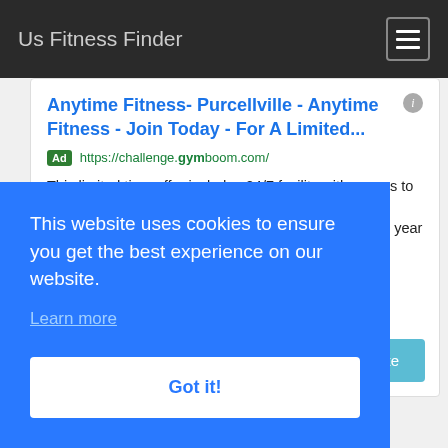Us Fitness Finder
Anytime Fitness- Purcellville - Anytime Fitness - Join Today - For A Limited...
Ad https://challenge.gymboom.com/
This limited time offer includes 24/7 facility with access to over 5,000 locations & more! Ready to crush those fitness goals? We are running our biggest sale of the year right now!
Free 7 Day Pass
Free 14-Day Pass
Visit Site
This website uses cookies to ensure you get the best experience on our website.
Learn more
Got it!